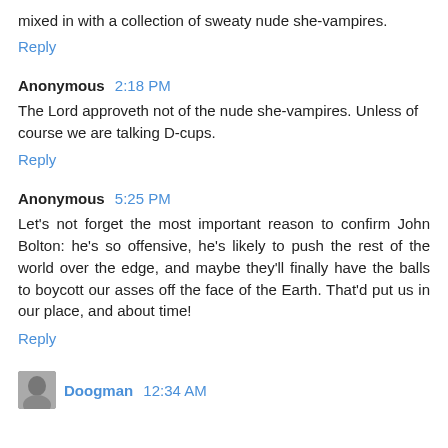mixed in with a collection of sweaty nude she-vampires.
Reply
Anonymous 2:18 PM
The Lord approveth not of the nude she-vampires. Unless of course we are talking D-cups.
Reply
Anonymous 5:25 PM
Let's not forget the most important reason to confirm John Bolton: he's so offensive, he's likely to push the rest of the world over the edge, and maybe they'll finally have the balls to boycott our asses off the face of the Earth. That'd put us in our place, and about time!
Reply
Doogman 12:34 AM